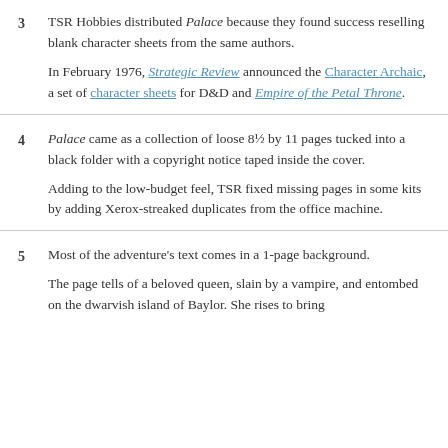3  TSR Hobbies distributed Palace because they found success reselling blank character sheets from the same authors.

In February 1976, Strategic Review announced the Character Archaic, a set of character sheets for D&D and Empire of the Petal Throne.
4  Palace came as a collection of loose 8½ by 11 pages tucked into a black folder with a copyright notice taped inside the cover.

Adding to the low-budget feel, TSR fixed missing pages in some kits by adding Xerox-streaked duplicates from the office machine.
5  Most of the adventure's text comes in a 1-page background.

The page tells of a beloved queen, slain by a vampire, and entombed on the dwarvish island of Baylor. She rises to bring